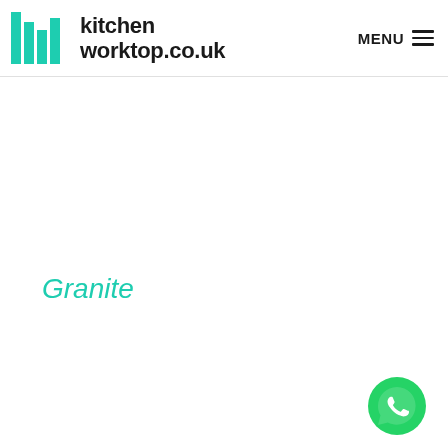[Figure (logo): KitchenWorktop.co.uk logo with green vertical bar icon and bold text]
MENU
Granite
[Figure (logo): WhatsApp contact button (green circle with phone handset icon)]